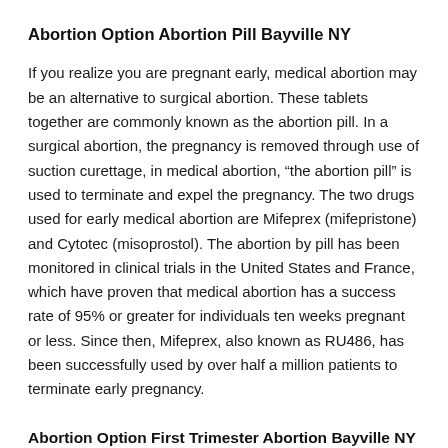Abortion Option Abortion Pill Bayville NY
If you realize you are pregnant early, medical abortion may be an alternative to surgical abortion. These tablets together are commonly known as the abortion pill. In a surgical abortion, the pregnancy is removed through use of suction curettage, in medical abortion, “the abortion pill” is used to terminate and expel the pregnancy. The two drugs used for early medical abortion are Mifeprex (mifepristone) and Cytotec (misoprostol). The abortion by pill has been monitored in clinical trials in the United States and France, which have proven that medical abortion has a success rate of 95% or greater for individuals ten weeks pregnant or less. Since then, Mifeprex, also known as RU486, has been successfully used by over half a million patients to terminate early pregnancy.
Abortion Option First Trimester Abortion Bayville NY